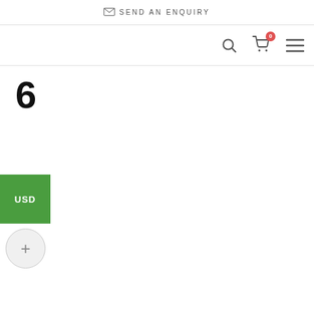✉ SEND AN ENQUIRY
[Figure (screenshot): Navigation bar with search icon, shopping cart icon with badge showing 0, and hamburger menu icon]
6
USD
[Figure (other): Circular plus (+) button]